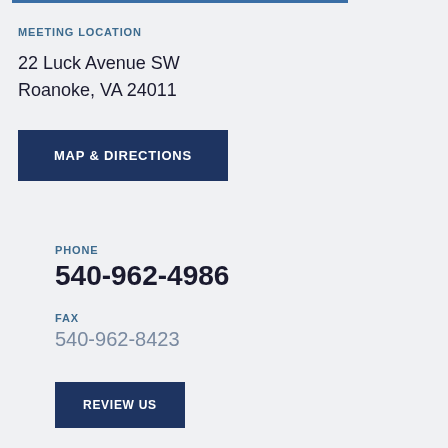MEETING LOCATION
22 Luck Avenue SW
Roanoke, VA 24011
MAP & DIRECTIONS
PHONE
540-962-4986
FAX
540-962-8423
REVIEW US